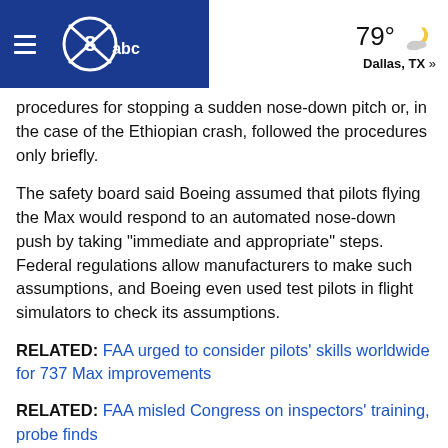KSAT abc | 79° Dallas, TX »
procedures for stopping a sudden nose-down pitch or, in the case of the Ethiopian crash, followed the procedures only briefly.
The safety board said Boeing assumed that pilots flying the Max would respond to an automated nose-down push by taking "immediate and appropriate" steps. Federal regulations allow manufacturers to make such assumptions, and Boeing even used test pilots in flight simulators to check its assumptions.
RELATED: FAA urged to consider pilots' skills worldwide for 737 Max improvements
RELATED: FAA misled Congress on inspectors' training, probe finds
Boeing presented highly trained test pilots only with a single alert indicating a condition known as runaway stabilizer trim, which can be triggered by the MCAS anti-